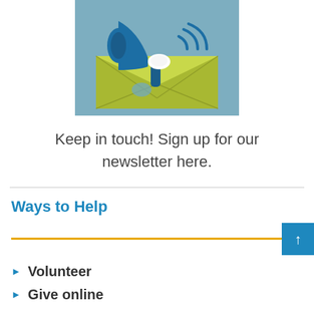[Figure (illustration): Illustration of a megaphone/bullhorn coming out of a green envelope on a light blue background]
Keep in touch! Sign up for our newsletter here.
Ways to Help
Volunteer
Give online